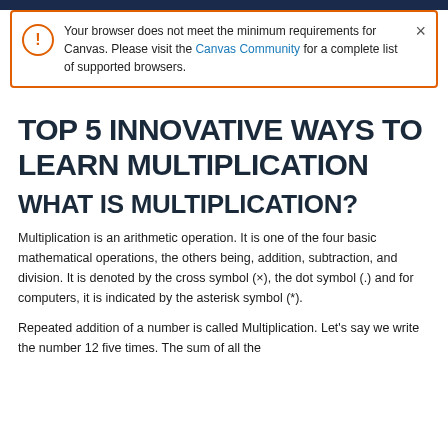Your browser does not meet the minimum requirements for Canvas. Please visit the Canvas Community for a complete list of supported browsers.
TOP 5 INNOVATIVE WAYS TO LEARN MULTIPLICATION
WHAT IS MULTIPLICATION?
Multiplication is an arithmetic operation. It is one of the four basic mathematical operations, the others being, addition, subtraction, and division. It is denoted by the cross symbol (×), the dot symbol (.) and for computers, it is indicated by the asterisk symbol (*).
Repeated addition of a number is called Multiplication. Let's say we write the number 12 five times. The sum of all the